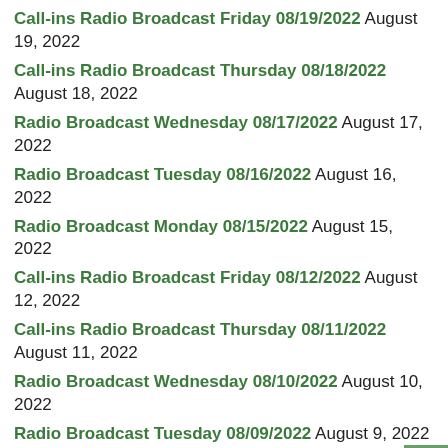Call-ins Radio Broadcast Friday 08/19/2022 August 19, 2022
Call-ins Radio Broadcast Thursday 08/18/2022 August 18, 2022
Radio Broadcast Wednesday 08/17/2022 August 17, 2022
Radio Broadcast Tuesday 08/16/2022 August 16, 2022
Radio Broadcast Monday 08/15/2022 August 15, 2022
Call-ins Radio Broadcast Friday 08/12/2022 August 12, 2022
Call-ins Radio Broadcast Thursday 08/11/2022 August 11, 2022
Radio Broadcast Wednesday 08/10/2022 August 10, 2022
Radio Broadcast Tuesday 08/09/2022 August 9, 2022
Radio Broadcast Monday 08/08/2022 August 8, 2022